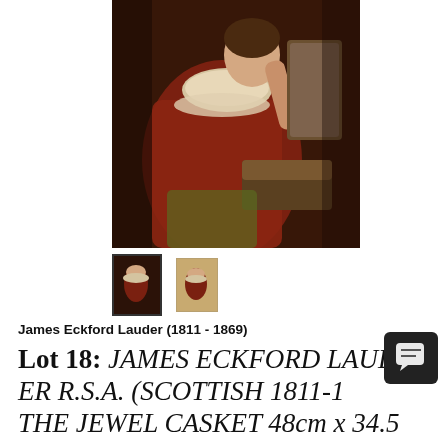[Figure (photo): Oil painting detail showing a young woman in a red dress with lace collar, holding a necklace near a jewel casket and mirror, in the style of 17th-18th century genre painting.]
[Figure (photo): Two small thumbnail images of the same painting — first with dark border selected, second with tan/cream border.]
James Eckford Lauder (1811 - 1869)
Lot 18: JAMES ECKFORD LAUDER R.S.A. (SCOTTISH 1811-1 THE JEWEL CASKET 48cm x 34.5